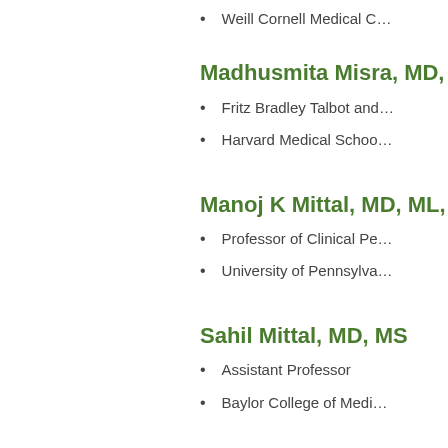Weill Cornell Medical C…
Madhusmita Misra, MD, M…
Fritz Bradley Talbot and…
Harvard Medical Schoo…
Manoj K Mittal, MD, ML, M…
Professor of Clinical Pe…
University of Pennsylva…
Sahil Mittal, MD, MS
Assistant Professor
Baylor College of Medi…